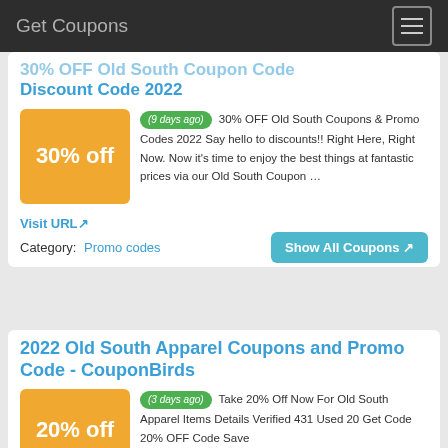Get Coupons
30% OFF Old South Coupon Code Discount Code 2022
(9 days ago) 30% OFF Old South Coupons & Promo Codes 2022 Say hello to discounts!! Right Here, Right Now. Now it's time to enjoy the best things at fantastic prices via our Old South Coupon …
Visit URL
Category:  Promo codes
Show All Coupons
2022 Old South Apparel Coupons and Promo Code - CouponBirds
(3 days ago) Take 20% Off Now For Old South Apparel Items Details Verified 431 Used 20 Get Code 20% OFF Code Save